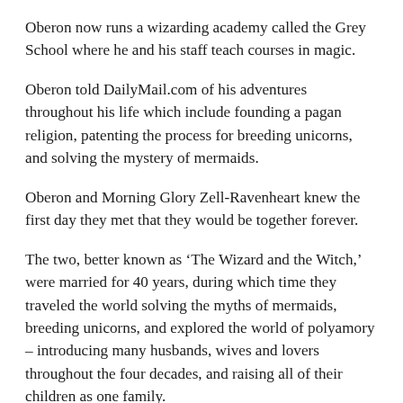Oberon now runs a wizarding academy called the Grey School where he and his staff teach courses in magic.
Oberon told DailyMail.com of his adventures throughout his life which include founding a pagan religion, patenting the process for breeding unicorns, and solving the mystery of mermaids.
Oberon and Morning Glory Zell-Ravenheart knew the first day they met that they would be together forever.
The two, better known as ‘The Wizard and the Witch,’ were married for 40 years, during which time they traveled the world solving the myths of mermaids, breeding unicorns, and explored the world of polyamory – introducing many husbands, wives and lovers throughout the four decades, and raising all of their children as one family.